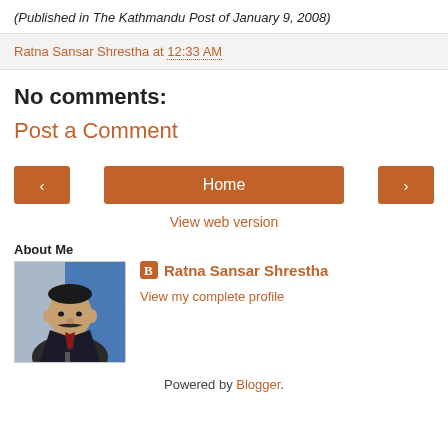(Published in The Kathmandu Post of January 9, 2008)
Ratna Sansar Shrestha at 12:33 AM
No comments:
Post a Comment
< Home > View web version
About Me
[Figure (photo): Profile photo of Ratna Sansar Shrestha, a man with a mustache wearing a suit]
Ratna Sansar Shrestha
View my complete profile
Powered by Blogger.